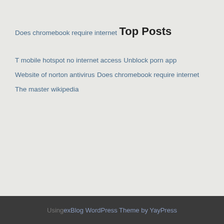Does chromebook require internet
Top Posts
T mobile hotspot no internet access
Unblock porn app
Website of norton antivirus
Does chromebook require internet
The master wikipedia
Using exBlog WordPress Theme by YayPress